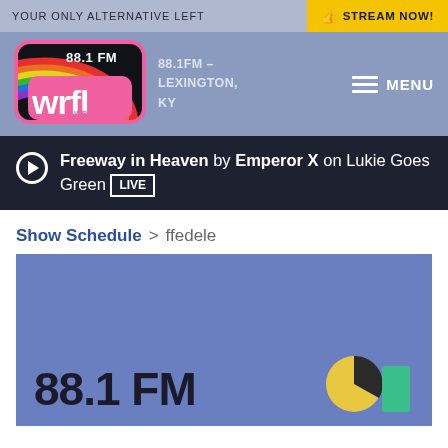YOUR ONLY ALTERNATIVE LEFT
STREAM NOW!
[Figure (logo): WRFL 88.1 FM logo with rainbow stripes and pink bubble lettering on dark background]
88.1FM – LEXINGTON, KY
MENU
Freeway in Heaven by Emperor X on Lukie Goes Green LIVE
Show Schedule > ffedele
[Figure (screenshot): Blue rectangle showing partial WRFL show image with '88.1 FM' text and colorful graphic elements at bottom right]